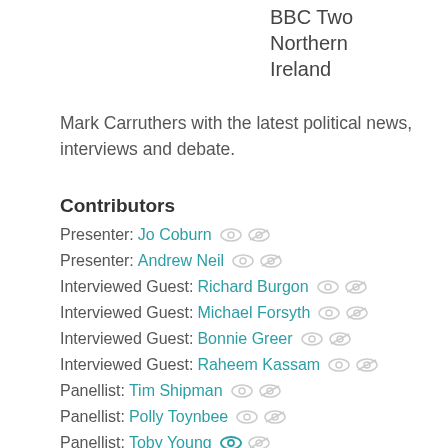BBC Two Northern Ireland
Mark Carruthers with the latest political news, interviews and debate.
Contributors
Presenter: Jo Coburn
Presenter: Andrew Neil
Interviewed Guest: Richard Burgon
Interviewed Guest: Michael Forsyth
Interviewed Guest: Bonnie Greer
Interviewed Guest: Raheem Kassam
Panellist: Tim Shipman
Panellist: Polly Toynbee
Panellist: Toby Young
Editor: Andrew Alexander
Genres
Factual / Politics